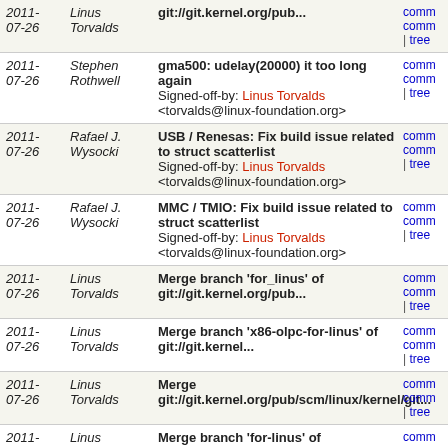| Date | Author | Commit | Links |
| --- | --- | --- | --- |
| 2011-07-26 | Linus Torvalds | git://git.kernel.org/pub... | comm comm | tree |
| 2011-07-26 | Stephen Rothwell | gma500: udelay(20000) it too long again
Signed-off-by: Linus Torvalds <torvalds@linux-foundation.org> | comm comm | tree |
| 2011-07-26 | Rafael J. Wysocki | USB / Renesas: Fix build issue related to struct scatterlist
Signed-off-by: Linus Torvalds <torvalds@linux-foundation.org> | comm comm | tree |
| 2011-07-26 | Rafael J. Wysocki | MMC / TMIO: Fix build issue related to struct scatterlist
Signed-off-by: Linus Torvalds <torvalds@linux-foundation.org> | comm comm | tree |
| 2011-07-26 | Linus Torvalds | Merge branch 'for_linus' of git://git.kernel.org/pub... | comm comm | tree |
| 2011-07-26 | Linus Torvalds | Merge branch 'x86-olpc-for-linus' of git://git.kernel... | comm comm | tree |
| 2011-07-26 | Linus Torvalds | Merge git://git.kernel.org/pub/scm/linux/kernel/git... | comm comm | tree |
| 2011-07-26 | Linus Torvalds | Merge branch 'for-linus' of git://git.kernel.org/pub... | comm comm | tree |
| 2011-07-26 | Linus Torvalds | Merge branch 'for-linus' of git://git.kernel.org/pub... | comm comm | tree |
| 2011-07-26 | Linus Torvalds | Merge branch 'for-linus' of git://git.kernel.dk/linux... | comm comm | tree |
| 2011-07-26 | Linus Torvalds | Merge branch 'drm-core-next' of git://git.kernel.org... | comm comm | tree |
| 2011- | Linus | p9: avoid unused variable warning | comm comm |